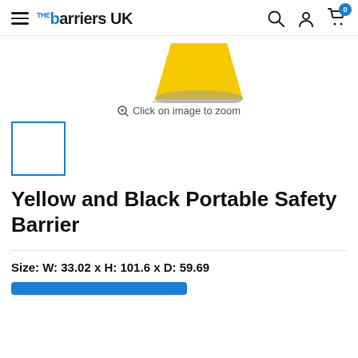Barriers UK — navigation header with hamburger menu, logo, search, account, and cart icons
[Figure (photo): Partial product photo showing the top portion of a yellow and black portable safety barrier against a white background]
Click on image to zoom
[Figure (photo): Small thumbnail image box with blue border (empty/white content visible), representing a thumbnail of the product]
Yellow and Black Portable Safety Barrier
Size: W: 33.02 x H: 101.6 x D: 59.69